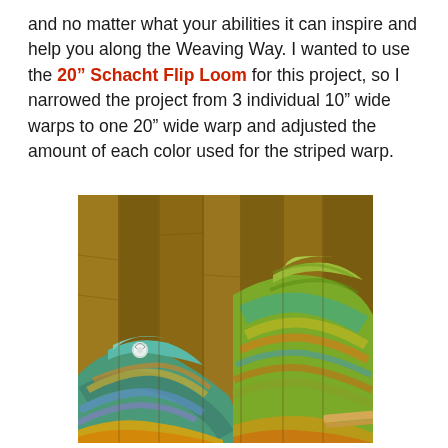and no matter what your abilities it can inspire and help you along the Weaving Way. I wanted to use the 20" Schacht Flip Loom for this project, so I narrowed the project from 3 individual 10" wide warps to one 20" wide warp and adjusted the amount of each color used for the striped warp.
[Figure (photo): Two colorful woven shawls/wraps displayed against a wooden fence background. The textile pieces show rainbow striped patterns in teal, blue, yellow, orange, green and purple colors. One shawl is pinned with a small brooch and both are draped/folded to show their texture and pattern.]